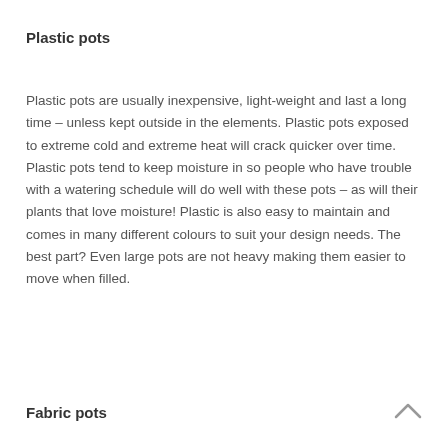Plastic pots
Plastic pots are usually inexpensive, light-weight and last a long time – unless kept outside in the elements. Plastic pots exposed to extreme cold and extreme heat will crack quicker over time. Plastic pots tend to keep moisture in so people who have trouble with a watering schedule will do well with these pots – as will their plants that love moisture! Plastic is also easy to maintain and comes in many different colours to suit your design needs. The best part? Even large pots are not heavy making them easier to move when filled.
Fabric pots